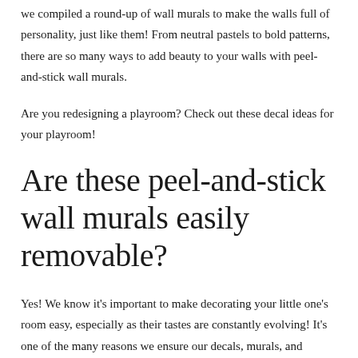we compiled a round-up of wall murals to make the walls full of personality, just like them! From neutral pastels to bold patterns, there are so many ways to add beauty to your walls with peel-and-stick wall murals.
Are you redesigning a playroom? Check out these decal ideas for your playroom!
Are these peel-and-stick wall murals easily removable?
Yes! We know it's important to make decorating your little one's room easy, especially as their tastes are constantly evolving! It's one of the many reasons we ensure our decals, murals, and wallpapers are designed to be added and removed with ease. So don't worry about these murals causing damage to your walls. They're specially made to leave your walls as they were.
Flowers, Pastels & Trees: 6